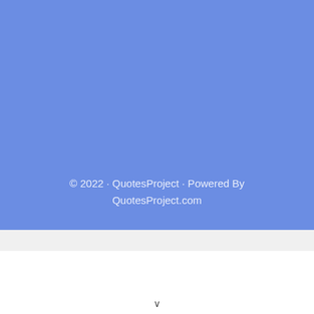© 2022 · QuotesProject · Powered By QuotesProject.com